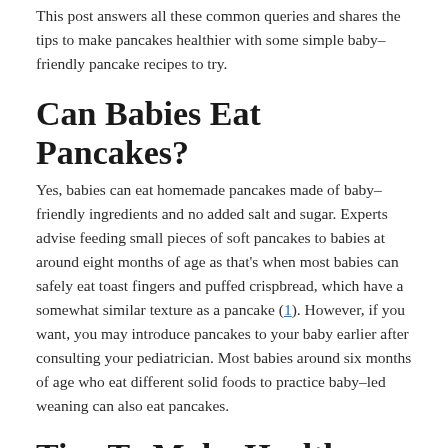This post answers all these common queries and shares the tips to make pancakes healthier with some simple baby-friendly pancake recipes to try.
Can Babies Eat Pancakes?
Yes, babies can eat homemade pancakes made of baby-friendly ingredients and no added salt and sugar. Experts advise feeding small pieces of soft pancakes to babies at around eight months of age as that's when most babies can safely eat toast fingers and puffed crispbread, which have a somewhat similar texture as a pancake (1). However, if you want, you may introduce pancakes to your baby earlier after consulting your pediatrician. Most babies around six months of age who eat different solid foods to practice baby-led weaning can also eat pancakes.
Tips To Make Healthy And